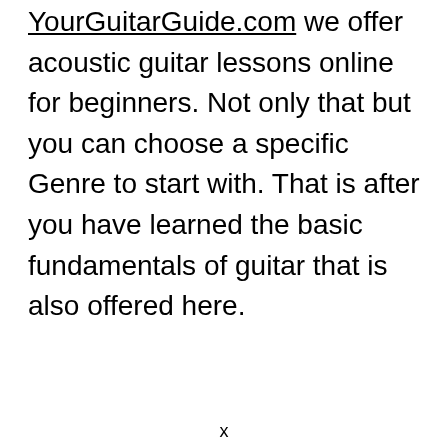YourGuitarGuide.com we offer acoustic guitar lessons online for beginners. Not only that but you can choose a specific Genre to start with. That is after you have learned the basic fundamentals of guitar that is also offered here.
x